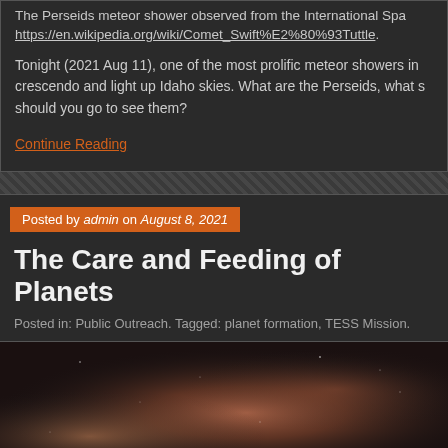The Perseids meteor shower observed from the International Spa... https://en.wikipedia.org/wiki/Comet_Swift%E2%80%93Tuttle.
Tonight (2021 Aug 11), one of the most prolific meteor showers in... crescendo and light up Idaho skies. What are the Perseids, what s... should you go to see them?
Continue Reading
Posted by admin on August 8, 2021
The Care and Feeding of Planets
Posted in: Public Outreach. Tagged: planet formation, TESS Mission.
[Figure (photo): Nebula or space dust cloud image with warm reddish-orange and brown tones against a dark background]